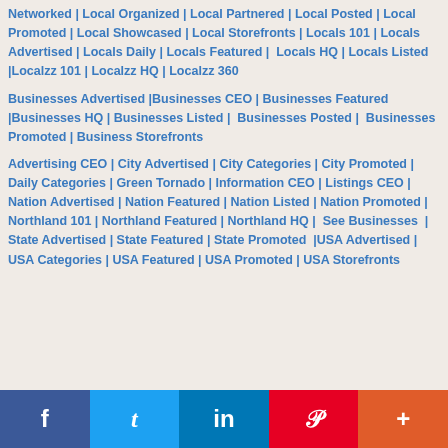Networked | Local Organized | Local Partnered | Local Posted | Local Promoted | Local Showcased | Local Storefronts | Locals 101 | Locals Advertised | Locals Daily | Locals Featured | Locals HQ | Locals Listed |Localzz 101 | Localzz HQ | Localzz 360
Businesses Advertised |Businesses CEO | Businesses Featured |Businesses HQ | Businesses Listed | Businesses Posted | Businesses Promoted | Business Storefronts
Advertising CEO | City Advertised | City Categories | City Promoted | Daily Categories | Green Tornado | Information CEO | Listings CEO | Nation Advertised | Nation Featured | Nation Listed | Nation Promoted | Northland 101 | Northland Featured | Northland HQ | See Businesses | State Advertised | State Featured | State Promoted |USA Advertised | USA Categories | USA Featured | USA Promoted | USA Storefronts
[Figure (other): Social sharing bar with Facebook, Twitter, LinkedIn, Pinterest, and More buttons]